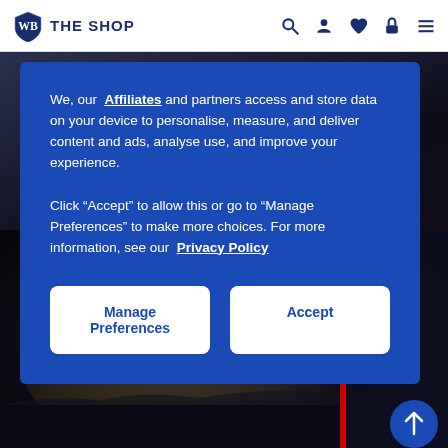WB THE SHOP
[Figure (screenshot): WB The Shop website header with Warner Bros shield logo, 'THE SHOP' text, and navigation icons (search, user, wishlist, cart, menu) in navy blue]
We, our Affiliates and partners access and store data on your device to personalise, measure, and deliver content and ads, analyse use, and improve your experience.
Click “Accept” to allow this or go to “Manage Preferences” to make more choices. For more information, see our Privacy Policy
Manage Preferences
Accept
[Figure (screenshot): Injustice 2 video game box art showing Superman character in a dark, atmospheric setting with the Injustice 2 logo]